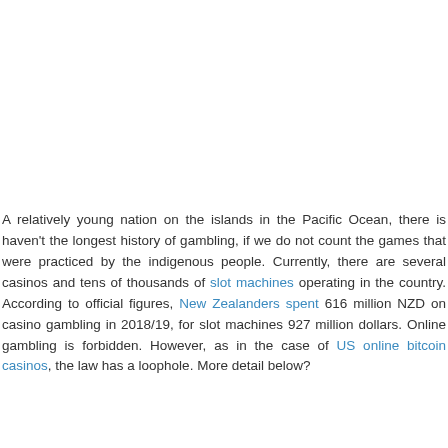A relatively young nation on the islands in the Pacific Ocean, there is haven't the longest history of gambling, if we do not count the games that were practiced by the indigenous people. Currently, there are several casinos and tens of thousands of slot machines operating in the country. According to official figures, New Zealanders spent 616 million NZD on casino gambling in 2018/19, for slot machines 927 million dollars. Online gambling is forbidden. However, as in the case of US online bitcoin casinos, the law has a loophole. More detail below?